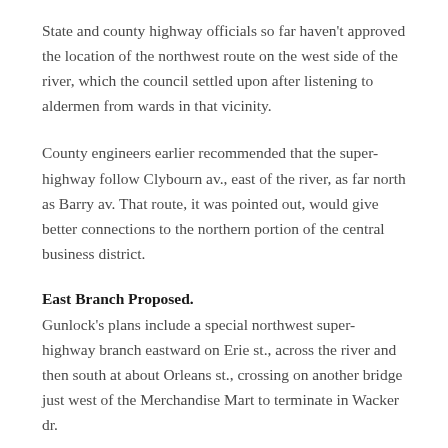State and county highway officials so far haven't approved the location of the northwest route on the west side of the river, which the council settled upon after listening to aldermen from wards in that vicinity.
County engineers earlier recommended that the super-highway follow Clybourn av., east of the river, as far north as Barry av. That route, it was pointed out, would give better connections to the northern portion of the central business district.
East Branch Proposed.
Gunlock's plans include a special northwest super-highway branch eastward on Erie st., across the river and then south at about Orleans st., crossing on another bridge just west of the Merchandise Mart to terminate in Wacker dr.